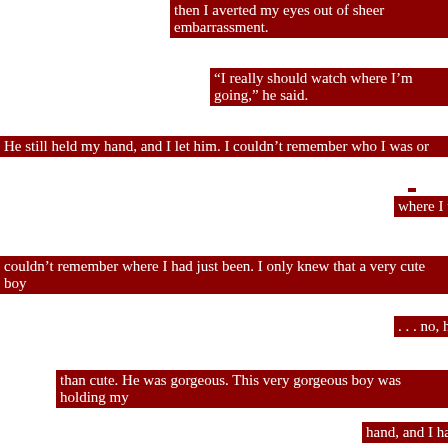then I averted my eyes out of sheer embarrassment.
“I really should watch where I’m going,” he said.
He still held my hand, and I let him. I couldn’t remember who I was or where I was going. I couldn't remember where I had just been. I only knew that a very cute boy . . . no, he was more than cute. He was gorgeous. This very gorgeous boy was holding my hand, and I had only one thought. I wanted to make our handholding more intimate. I wanted to lace my fingers with his.
“I think I should,” I mumbled.
I chanced another look at him. I made a conscientious effort not to gasp as I took in his light blue eyes. I’d never seen eyes that color. Bing Crosby had nothing on this guy’s eyes, and Bing’s eyes were the color of the Mediterranean. No, the eyes I looked into now